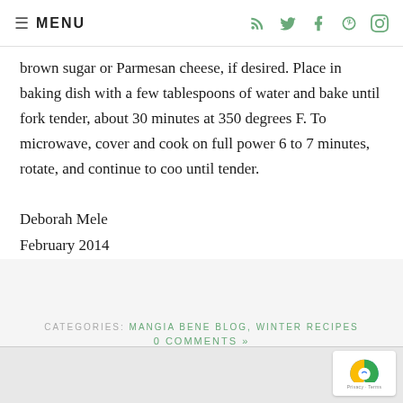≡ MENU
brown sugar or Parmesan cheese, if desired. Place in baking dish with a few tablespoons of water and bake until fork tender, about 30 minutes at 350 degrees F. To microwave, cover and cook on full power 6 to 7 minutes, rotate, and continue to coo until tender.
Deborah Mele
February 2014
CATEGORIES: MANGIA BENE BLOG, WINTER RECIPES
0 COMMENTS »